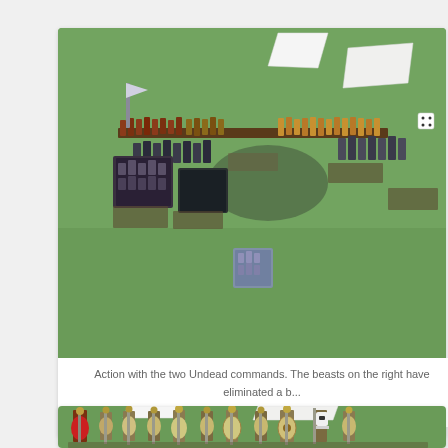[Figure (photo): Overhead view of a tabletop wargame scene showing miniature figures on a green felt battlefield. Two Undead commands are visible with rows of miniature soldiers, cavalry, and beast units arranged across the table. White paper cards/markers are placed near some units. A dark circular shadow is visible in the center of the battlefield.]
Action with the two Undead commands. The beasts on the right have eliminated a b... the first line
[Figure (photo): Close-up view of ancient Greek or Roman miniature warrior figures standing in a row on a green battlefield surface. The figures are detailed with red shields, spears, and helmets. White paper markers are visible in the background.]